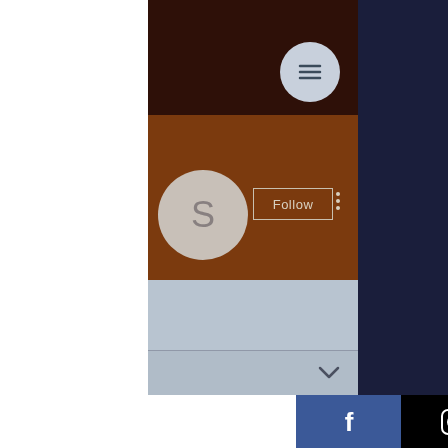[Figure (screenshot): Mobile app profile page screenshot for 'Seminole casino immokalee...' showing dark brown header band, medium brown profile section with Follow button, profile initial avatar 'S', follower stats, and bottom social media bar with Facebook and Instagram icons, on dark brick background]
Seminole casino immokalee ...
0 Followers • 0 Following